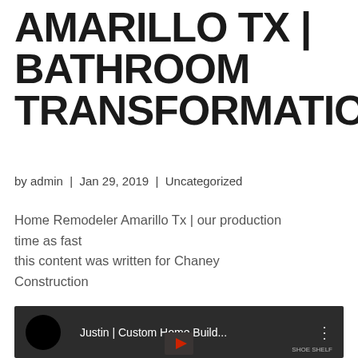AMARILLO TX | BATHROOM TRANSFORMATION
by admin  |  Jan 29, 2019  |  Uncategorized
Home Remodeler Amarillo Tx | our production time as fast
this content was written for Chaney Construction
[Figure (screenshot): YouTube video thumbnail showing a person with the title 'Justin | Custom Home Build...' and a menu dots icon on a dark background]